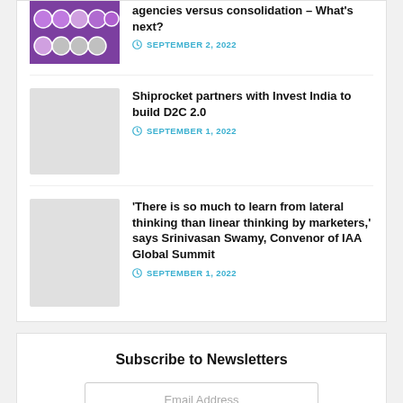[Figure (photo): Partial article with purple background thumbnail showing circular profile photos, title about agencies versus consolidation]
agencies versus consolidation – What's next?
SEPTEMBER 2, 2022
[Figure (photo): Light gray placeholder thumbnail for Shiprocket article]
Shiprocket partners with Invest India to build D2C 2.0
SEPTEMBER 1, 2022
[Figure (photo): Light gray placeholder thumbnail for lateral thinking article]
'There is so much to learn from lateral thinking than linear thinking by marketers,' says Srinivasan Swamy, Convenor of IAA Global Summit
SEPTEMBER 1, 2022
Subscribe to Newsletters
Email Address